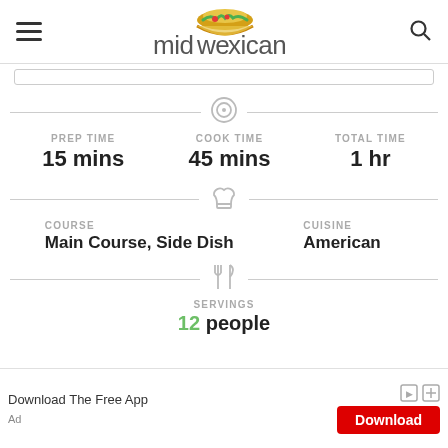midwexican (logo with hamburger menu and search icon)
PREP TIME 15 mins | COOK TIME 45 mins | TOTAL TIME 1 hr
COURSE Main Course, Side Dish | CUISINE American
SERVINGS 12 people
Download The Free App | Download | Ad